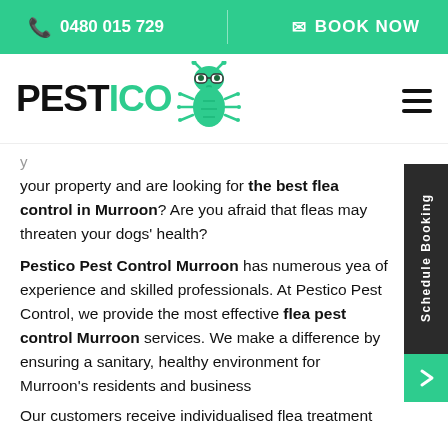📞 0480 015 729   ✉ BOOK NOW
[Figure (logo): Pestico logo with cartoon bug mascot wearing glasses]
your property and are looking for the best flea control in Murroon? Are you afraid that fleas may threaten your dogs' health?
Pestico Pest Control Murroon has numerous years of experience and skilled professionals. At Pestico Pest Control, we provide the most effective flea pest control Murroon services. We make a difference by ensuring a sanitary, healthy environment for Murroon's residents and businesses
Our customers receive individualised flea treatment packages based on the level of flea infestation of